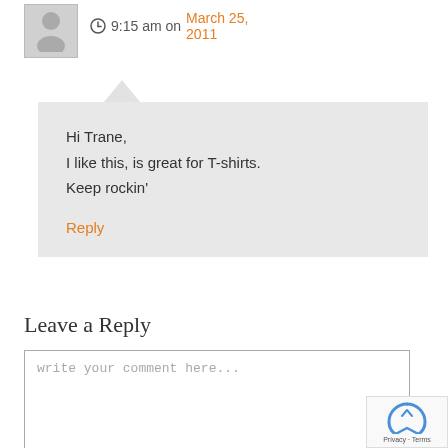9:15 am on March 25, 2011
Hi Trane,
I like this, is great for T-shirts.
Keep rockin'
Reply
Leave a Reply
write your comment here...